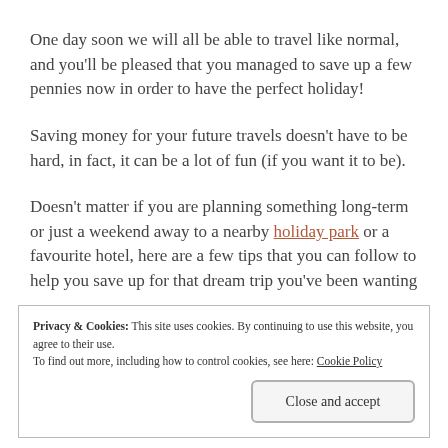One day soon we will all be able to travel like normal, and you'll be pleased that you managed to save up a few pennies now in order to have the perfect holiday!
Saving money for your future travels doesn't have to be hard, in fact, it can be a lot of fun (if you want it to be).
Doesn't matter if you are planning something long-term or just a weekend away to a nearby holiday park or a favourite hotel, here are a few tips that you can follow to help you save up for that dream trip you've been wanting to go on.
Privacy & Cookies: This site uses cookies. By continuing to use this website, you agree to their use. To find out more, including how to control cookies, see here: Cookie Policy